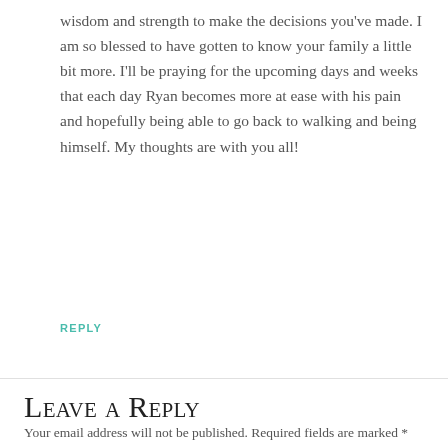wisdom and strength to make the decisions you've made. I am so blessed to have gotten to know your family a little bit more. I'll be praying for the upcoming days and weeks that each day Ryan becomes more at ease with his pain and hopefully being able to go back to walking and being himself. My thoughts are with you all!
REPLY
Leave a Reply
Your email address will not be published. Required fields are marked *